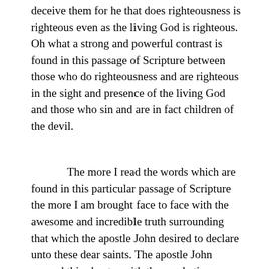deceive them for he that does righteousness is righteous even as the living God is righteous. Oh what a strong and powerful contrast is found in this passage of Scripture between those who do righteousness and are righteous in the sight and presence of the living God and those who sin and are in fact children of the devil.
The more I read the words which are found in this particular passage of Scripture the more I am brought face to face with the awesome and incredible truth surrounding that which the apostle John desired to declare unto these dear saints. The apostle John opened this chapter with the emphatic declaration of the manner of love the Father bestowed upon us that we should be called the sons of God. It is because we are the sons of God the world does not know us because the world did not know Him. What makes this reality so incredibly